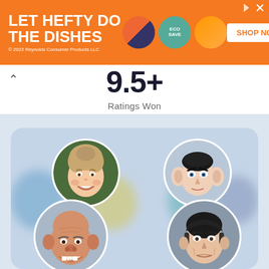[Figure (illustration): Orange advertisement banner for Hefty dish products with text LET HEFTY DO THE DISHES, product images, and SHOP NOW button]
9.5+
Ratings Won
[Figure (illustration): Card with blurred background showing people, featuring four circular avatar portraits with caricature-style illustrations: top-left blonde woman smiling, top-right young man with large ears, bottom-left older bald man grinning, bottom-right middle-aged man]